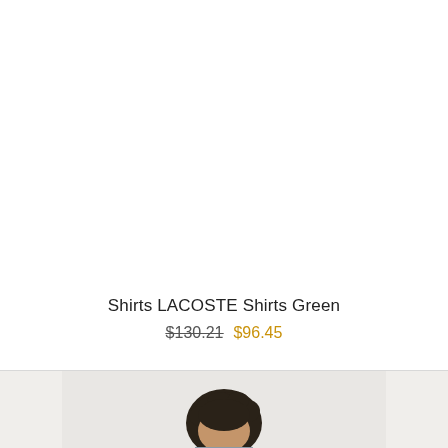Shirts LACOSTE Shirts Green
$130.21  $96.45
[Figure (photo): Bottom portion of a product listing page showing the top of a male model's head with dark curly hair, wearing what appears to be a shirt, photographed against a light background.]